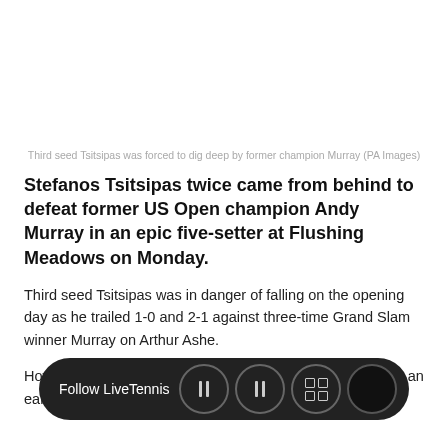Third seed Tsitsipas was forced to dig deep by former champion Murray (PA Images)
Stefanos Tsitsipas twice came from behind to defeat former US Open champion Andy Murray in an epic five-setter at Flushing Meadows on Monday.
Third seed Tsitsipas was in danger of falling on the opening day as he trailed 1-0 and 2-1 against three-time Grand Slam winner Murray on Arthur Ashe.
However, the Greek dug deep by controlling set four before an early bre… 7-6, 3-6, 6-3, 6-4 w…
[Figure (other): Follow LiveTennis social media overlay bar with pause and menu icons]